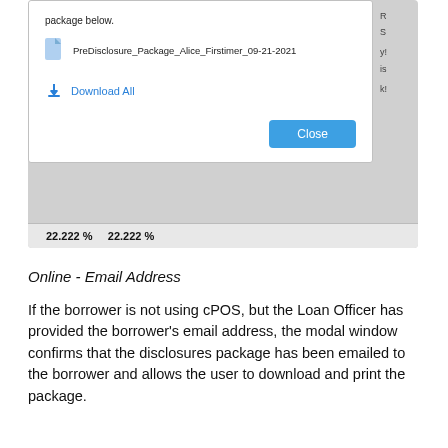[Figure (screenshot): Screenshot of a modal dialog window showing a pre-disclosure package download. Contains a file named 'PreDisclosure_Package_Alice_Firstimer_09-21-2021', a 'Download All' link with download icon, and a blue 'Close' button. Below the modal shows '22.222 %   22.222 %' in the background.]
Online - Email Address
If the borrower is not using cPOS, but the Loan Officer has provided the borrower's email address, the modal window confirms that the disclosures package has been emailed to the borrower and allows the user to download and print the package.